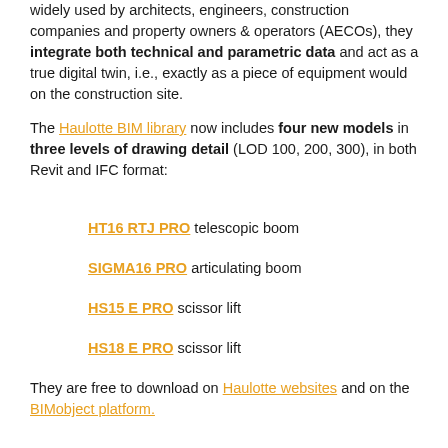widely used by architects, engineers, construction companies and property owners & operators (AECOs), they integrate both technical and parametric data and act as a true digital twin, i.e., exactly as a piece of equipment would on the construction site.
The Haulotte BIM library now includes four new models in three levels of drawing detail (LOD 100, 200, 300), in both Revit and IFC format:
HT16 RTJ PRO telescopic boom
SIGMA16 PRO articulating boom
HS15 E PRO scissor lift
HS18 E PRO scissor lift
They are free to download on Haulotte websites and on the BIMobject platform.